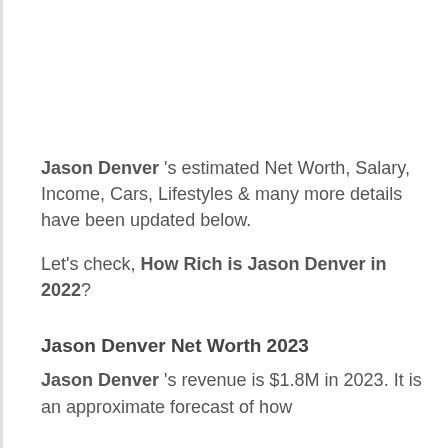Jason Denver 's estimated Net Worth, Salary, Income, Cars, Lifestyles & many more details have been updated below.
Let's check, How Rich is Jason Denver in 2022?
Jason Denver Net Worth 2023
Jason Denver 's revenue is $1.8M in 2023. It is an approximate forecast of how